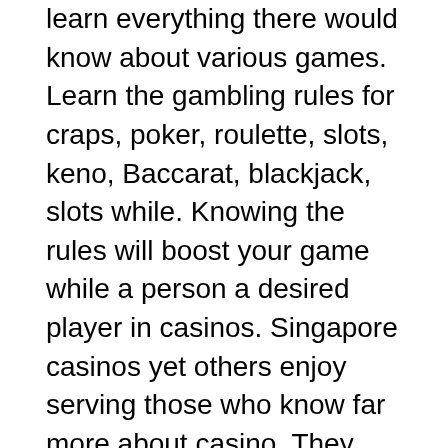learn everything there would know about various games. Learn the gambling rules for craps, poker, roulette, slots, keno, Baccarat, blackjack, slots while. Knowing the rules will boost your game while a person a desired player in casinos. Singapore casinos yet others enjoy serving those who know far more about casino. They realize that a gambler probably be a frequent consumer!
With online Gambling, any player can always access their best online casino in enough time and anywhere they wish for. And because it is more accessible, players could be at terrific risks to be addicted to gambling. This addiction can be purchased not only in playing in online casinos but also in land-based casinos. Due to the addition on Gambling happens, players treat gambling for a necessity or need with regard to their everyday plan. More or less, it gives them satisfaction that they can be looking for, it may be the excitement of games along with idea of winning the pot money. Also, there are players gamble to relief the